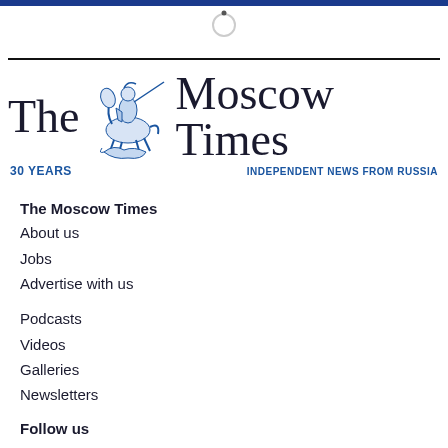[Figure (logo): The Moscow Times logo with knight on horseback illustration, '30 YEARS' and 'INDEPENDENT NEWS FROM RUSSIA' tagline]
The Moscow Times
About us
Jobs
Advertise with us
Podcasts
Videos
Galleries
Newsletters
Follow us